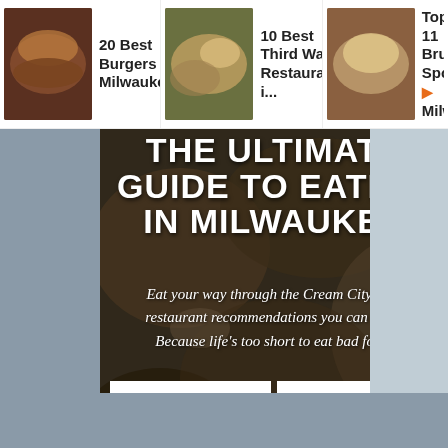20 Best Burgers in Milwaukee | 10 Best Third Ward Restaurants i... | Top 11 Bru Spots Milwaukee
THE ULTIMATE GUIDE TO EATING IN MILWAUKEE
Eat your way through the Cream City with restaurant recommendations you can trust. Because life’s too short to eat bad food.
YOUR FIRST NAME
YOUR EMAIL ADDRI
SIGN UP FOR FREE 5-DAY EMAIL COURSE
[Figure (photo): Food photography background showing various dishes including paella and other restaurant food]
406